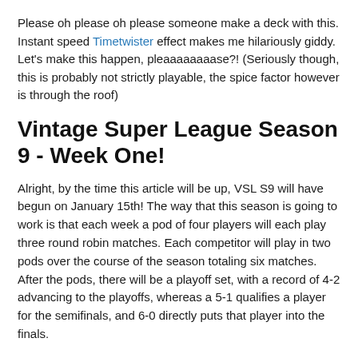Please oh please oh please someone make a deck with this. Instant speed Timetwister effect makes me hilariously giddy. Let's make this happen, pleaaaaaaaase?! (Seriously though, this is probably not strictly playable, the spice factor however is through the roof)
Vintage Super League Season 9 - Week One!
Alright, by the time this article will be up, VSL S9 will have begun on January 15th! The way that this season is going to work is that each week a pod of four players will each play three round robin matches. Each competitor will play in two pods over the course of the season totaling six matches. After the pods, there will be a playoff set, with a record of 4-2 advancing to the playoffs, whereas a 5-1 qualifies a player for the semifinals, and 6-0 directly puts that player into the finals.
Also, if you haven't watched this intro from the highly talented Athena Froehlich, it is hot fire. Amazing work indeed.